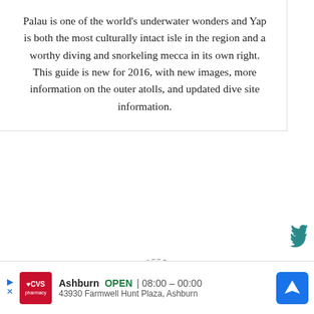Palau is one of the world's underwater wonders and Yap is both the most culturally intact isle in the region and a worthy diving and snorkeling mecca in its own right. This guide is new for 2016, with new images, more information on the outer atolls, and updated dive site information.
Tagged 40uniqueWonders
[Figure (other): Partial circle/profile avatar placeholder with dashed outline and letter n or u shape inside]
Ashburn OPEN | 08:00 – 00:00 43930 Farmwell Hunt Plaza, Ashburn